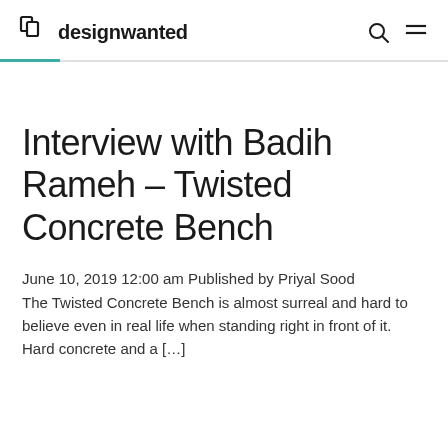designwanted
Interview with Badih Rameh – Twisted Concrete Bench
June 10, 2019 12:00 am Published by Priyal Sood
The Twisted Concrete Bench is almost surreal and hard to believe even in real life when standing right in front of it. Hard concrete and a […]